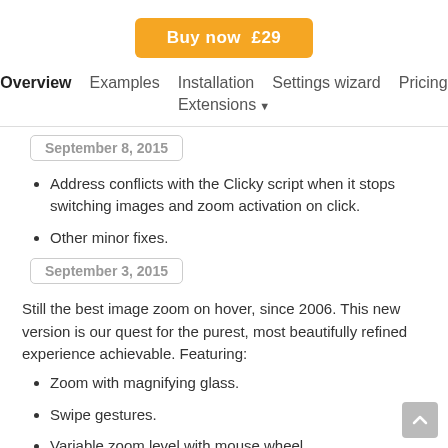[Figure (other): Orange 'Buy now £29' button]
Overview   Examples   Installation   Settings wizard   Pricing   Extensions ▼
September 8, 2015
Address conflicts with the Clicky script when it stops switching images and zoom activation on click.
Other minor fixes.
September 3, 2015
Still the best image zoom on hover, since 2006. This new version is our quest for the purest, most beautifully refined experience achievable. Featuring:
Zoom with magnifying glass.
Swipe gestures.
Variable zoom level with mouse wheel.